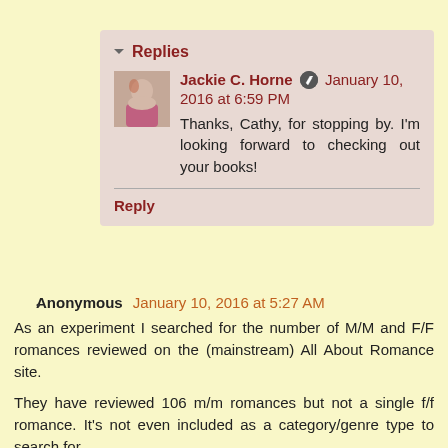Replies
Jackie C. Horne  January 10, 2016 at 6:59 PM
Thanks, Cathy, for stopping by. I'm looking forward to checking out your books!
Reply
Anonymous  January 10, 2016 at 5:27 AM
As an experiment I searched for the number of M/M and F/F romances reviewed on the (mainstream) All About Romance site.
They have reviewed 106 m/m romances but not a single f/f romance. It's not even included as a category/genre type to search for.
Reply